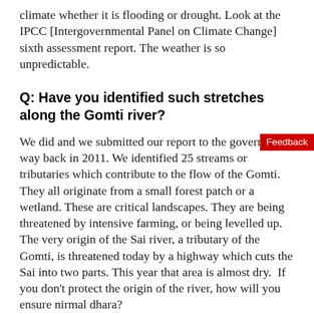climate whether it is flooding or drought. Look at the IPCC [Intergovernmental Panel on Climate Change] sixth assessment report. The weather is so unpredictable.
Q: Have you identified such stretches along the Gomti river?
We did and we submitted our report to the government way back in 2011. We identified 25 streams or tributaries which contribute to the flow of the Gomti. They all originate from a small forest patch or a wetland. These are critical landscapes. They are being threatened by intensive farming, or being levelled up. The very origin of the Sai river, a tributary of the Gomti, is threatened today by a highway which cuts the Sai into two parts. This year that area is almost dry. If you don't protect the origin of the river, how will you ensure nirmal dhara?